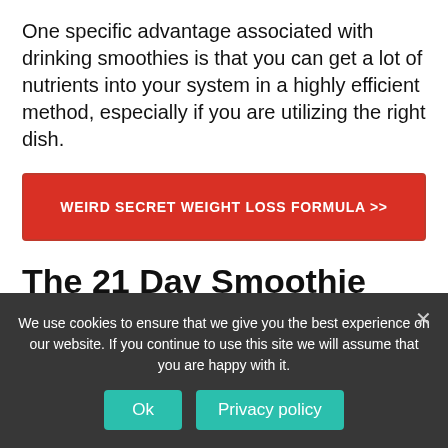One specific advantage associated with drinking smoothies is that you can get a lot of nutrients into your system in a highly efficient method, especially if you are utilizing the right dish.
[Figure (other): Red call-to-action button with text: WEIRD SECRET WEIGHT LOSS FORMULA >>]
The 21 Day Smoothie Diet
The 21-Day Smoothie Diet is a tasty, easy-to-follow, plan for losing weight and improving...
We use cookies to ensure that we give you the best experience on our website. If you continue to use this site we will assume that you are happy with it.